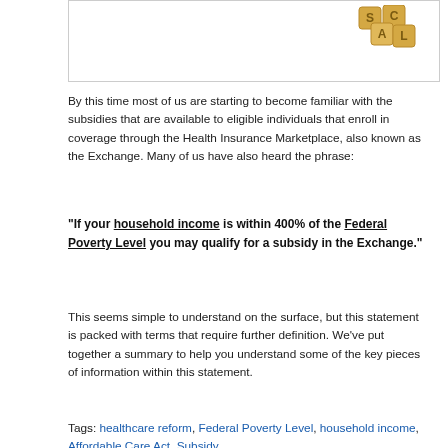[Figure (photo): Partial view of scrabble tiles forming word/decorative image in top right corner, inside a bordered box.]
By this time most of us are starting to become familiar with the subsidies that are available to eligible individuals that enroll in coverage through the Health Insurance Marketplace, also known as the Exchange. Many of us have also heard the phrase:
“If your household income is within 400% of the Federal Poverty Level you may qualify for a subsidy in the Exchange.”
This seems simple to understand on the surface, but this statement is packed with terms that require further definition. We’ve put together a summary to help you understand some of the key pieces of information within this statement.
Tags: healthcare reform, Federal Poverty Level, household income, Affordable Care Act, Subsidy